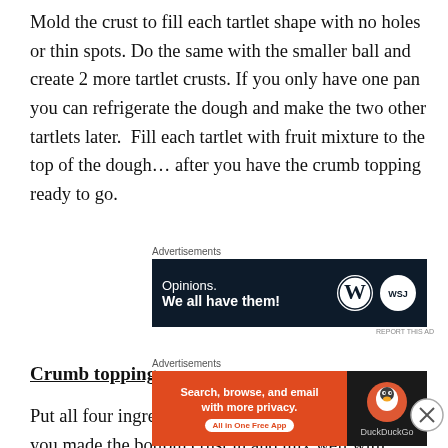Mold the crust to fill each tartlet shape with no holes or thin spots. Do the same with the smaller ball and create 2 more tartlet crusts. If you only have one pan you can refrigerate the dough and make the two other tartlets later.  Fill each tartlet with fruit mixture to the top of the dough… after you have the crumb topping ready to go.
Advertisements
[Figure (other): Advertisement banner with dark navy background. Text reads 'Opinions. We all have them!' with WordPress and Wall Street Journal logos on the right.]
Crumb topping
Put all four ingredients in the same mixing bowl you made the bottom crust in and mix well with mixer paddle until
Advertisements
[Figure (other): DuckDuckGo advertisement banner. Orange left section reads 'Search, browse, and email with more privacy.' with 'All in One Free App' button. Dark right section shows DuckDuckGo duck logo and name.]